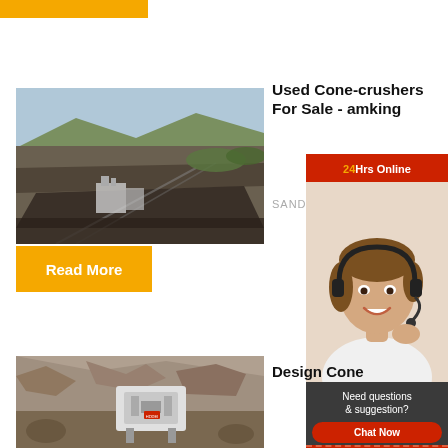[Figure (other): Yellow horizontal bar at top left]
[Figure (photo): Aerial view of a large open-pit mining operation with equipment and conveyor belts in a landscape]
Used Cone-crushers For Sale - amking
SANDVIK C...
[Figure (photo): Customer service widget with 24Hrs Online header, woman wearing headset smiling]
Need questions & suggestion?
Chat Now
Enquiry
limingjlmofen
Read More
[Figure (photo): Industrial cone crusher equipment at a quarry site]
Design Cone